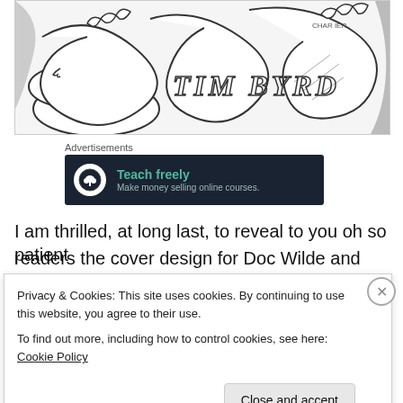[Figure (illustration): Black and white comic-style illustration with tangled snake-like creatures and hands. Text 'TIM BYRD' appears in stylized letters. Artist signature 'CHAR IER' visible in upper right area.]
Advertisements
[Figure (infographic): Dark navy advertisement banner reading 'Teach freely' with subtitle 'Make money selling online courses.' Features a circular tree/bonsai icon on the left.]
I am thrilled, at long last, to reveal to you oh so patient readers the cover design for Doc Wilde and The Mad
Privacy & Cookies: This site uses cookies. By continuing to use this website, you agree to their use.
To find out more, including how to control cookies, see here: Cookie Policy
Close and accept